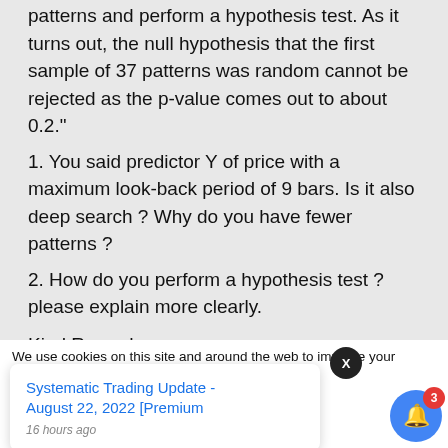patterns and perform a hypothesis test. As it turns out, the null hypothesis that the first sample of 37 patterns was random cannot be rejected as the p-value comes out to about 0.2."
1. You said predictor Y of price with a maximum look-back period of 9 bars. Is it also deep search ? Why do you have fewer patterns ?
2. How do you perform a hypothesis test ? please explain more clearly.
Kind Regards,
Sarids
We use cookies on this site and around the web to improve your his site we will out if you wi...
Systematic Trading Update - August 22, 2022 [Premium
16 hours ago